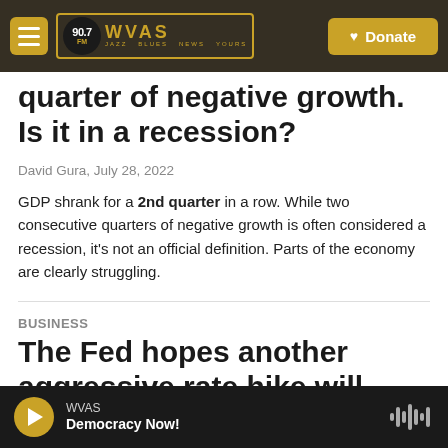WVAS 90.7 FM — Donate
quarter of negative growth. Is it in a recession?
David Gura, July 28, 2022
GDP shrank for a 2nd quarter in a row. While two consecutive quarters of negative growth is often considered a recession, it's not an official definition. Parts of the economy are clearly struggling.
Business
The Fed hopes another aggressive rate hike will help tame high inflation
WVAS — Democracy Now!